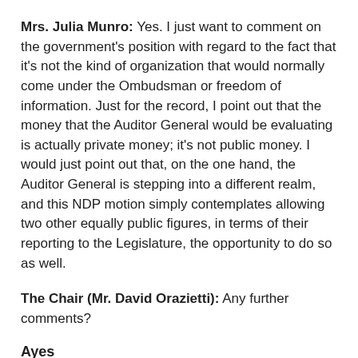Mrs. Julia Munro: Yes. I just want to comment on the government's position with regard to the fact that it's not the kind of organization that would normally come under the Ombudsman or freedom of information. Just for the record, I point out that the money that the Auditor General would be evaluating is actually private money; it's not public money. I would just point out that, on the one hand, the Auditor General is stepping into a different realm, and this NDP motion simply contemplates allowing two other equally public figures, in terms of their reporting to the Legislature, the opportunity to do so as well.
The Chair (Mr. David Orazietti): Any further comments?
Ayes
Munro, Tabuns.
Nays